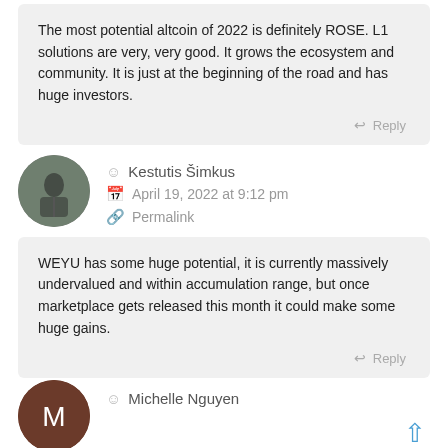The most potential altcoin of 2022 is definitely ROSE. L1 solutions are very, very good. It grows the ecosystem and community. It is just at the beginning of the road and has huge investors.
Reply
Kestutis Šimkus
April 19, 2022 at 9:12 pm
Permalink
WEYU has some huge potential, it is currently massively undervalued and within accumulation range, but once marketplace gets released this month it could make some huge gains.
Reply
Michelle Nguyen